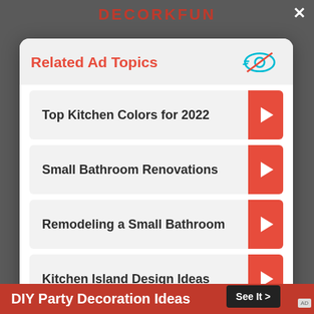DECORKFUN
Related Ad Topics
Top Kitchen Colors for 2022
Small Bathroom Renovations
Remodeling a Small Bathroom
Kitchen Island Design Ideas
Continue to Site >>
DIY Party Decoration Ideas